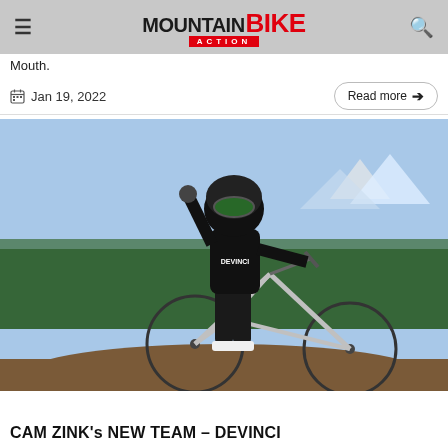Mountain Bike Action
Mouth.
Jan 19, 2022
Read more →
[Figure (photo): A mountain biker in full Devinci gear and helmet holding up one hand, standing beside a Devinci full-suspension mountain bike on a dirt mound with trees and snow-capped mountains in the background.]
CAM ZINK's NEW TEAM – DEVINCI